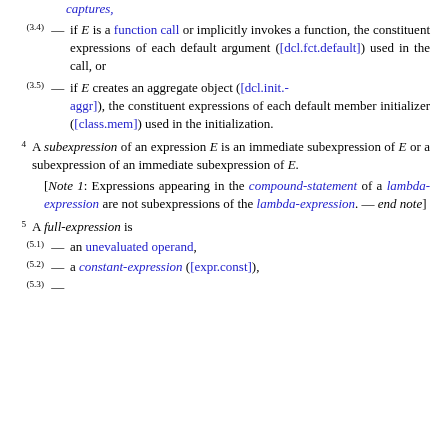captures,
(3.4) — if E is a function call or implicitly invokes a function, the constituent expressions of each default argument ([dcl.fct.default]) used in the call, or
(3.5) — if E creates an aggregate object ([dcl.init.aggr]), the constituent expressions of each default member initializer ([class.mem]) used in the initialization.
4 A subexpression of an expression E is an immediate subexpression of E or a subexpression of an immediate subexpression of E.
[Note 1: Expressions appearing in the compound-statement of a lambda-expression are not subexpressions of the lambda-expression. — end note]
5 A full-expression is
(5.1) — an unevaluated operand,
(5.2) — a constant-expression ([expr.const]),
(5.3) — ...